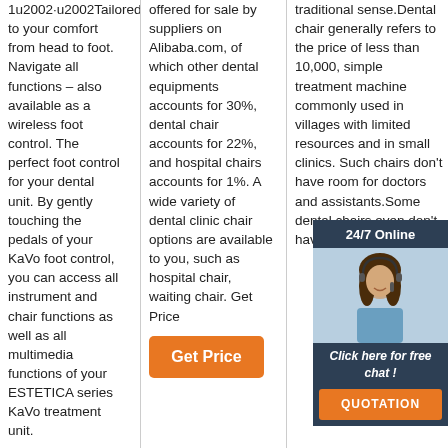1u2002·u2002Tailored to your comfort from head to foot. Navigate all functions – also available as a wireless foot control. The perfect foot control for your dental unit. By gently touching the pedals of your KaVo foot control, you can access all instrument and chair functions as well as all multimedia functions of your ESTETICA series KaVo treatment unit.
offered for sale by suppliers on Alibaba.com, of which other dental equipments accounts for 30%, dental chair accounts for 22%, and hospital chairs accounts for 1%. A wide variety of dental clinic chair options are available to you, such as hospital chair, waiting chair. Get Price
[Figure (other): Orange 'Get Price' button]
traditional sense.Dental chair generally refers to the price of less than 10,000, simple treatment machine commonly used in villages with limited resources and in small clinics. Such chairs don't have room for doctors and assistants.Some dental chairs even don't have spittoons and ...
[Figure (other): 24/7 Online chat widget with headset woman photo, 'Click here for free chat!' text, and orange QUOTATION button]
[Figure (other): Orange TOP badge with dots]